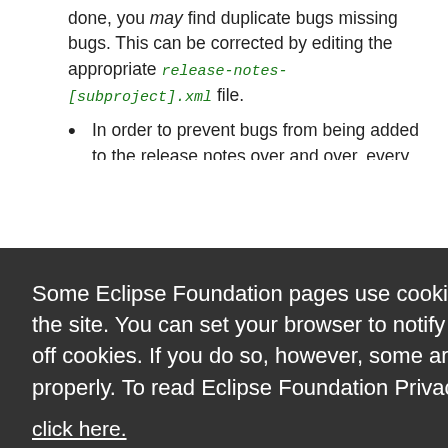done, you may find duplicate bugs missing bugs. This can be corrected by editing the appropriate release-notes-[subproject].xml file.
In order to prevent bugs from being added to the release notes over and over, every week you should...
[Figure (screenshot): Cookie consent overlay dialog with dark background. Text reads: 'Some Eclipse Foundation pages use cookies to better serve you when you return to the site. You can set your browser to notify you before you receive a cookie or turn off cookies. If you do so, however, some areas of some sites may not function properly. To read Eclipse Foundation Privacy Policy click here.' Two buttons: 'Decline' (white) and 'Allow cookies' (orange).]